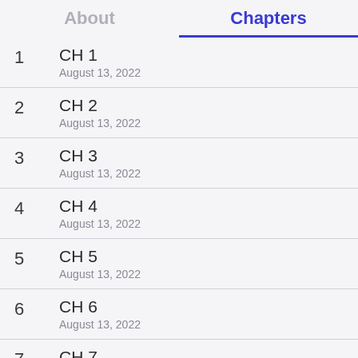About
Chapters
1  CH 1  August 13, 2022
2  CH 2  August 13, 2022
3  CH 3  August 13, 2022
4  CH 4  August 13, 2022
5  CH 5  August 13, 2022
6  CH 6  August 13, 2022
7  CH 7  August 13, 2022
8  CH 8